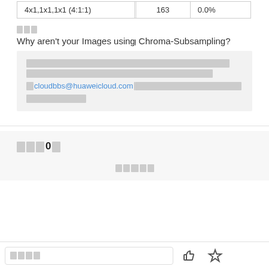| 4x1,1x1,1x1 (4:1:1) | 163 | 0.0% |
□□□
Why aren't your Images using Chroma-Subsampling?
[placeholder text block with cloudbbs@huaweicloud.com link]
□□□□0□
□□□□□
□□□□